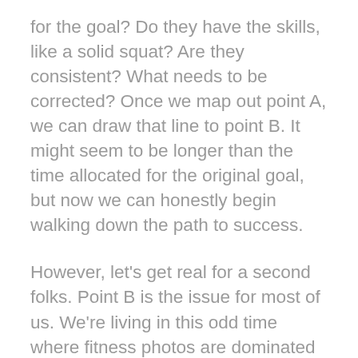for the goal? Do they have the skills, like a solid squat? Are they consistent? What needs to be corrected? Once we map out point A, we can draw that line to point B. It might seem to be longer than the time allocated for the original goal, but now we can honestly begin walking down the path to success.
However, let's get real for a second folks. Point B is the issue for most of us. We're living in this odd time where fitness photos are dominated by hyper-fit women and men with both genetic gifts accompanied by an artist editing studio. This is not Point B for most people. It's Point Z
Sadly, the fitness industry uses photoshop,